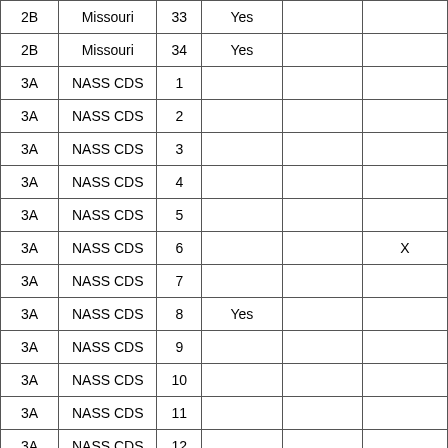| 2B | Missouri | 33 | Yes |  |  |
| 2B | Missouri | 34 | Yes |  |  |
| 3A | NASS CDS | 1 |  |  |  |
| 3A | NASS CDS | 2 |  |  |  |
| 3A | NASS CDS | 3 |  |  |  |
| 3A | NASS CDS | 4 |  |  |  |
| 3A | NASS CDS | 5 |  |  |  |
| 3A | NASS CDS | 6 |  |  | X |
| 3A | NASS CDS | 7 |  |  |  |
| 3A | NASS CDS | 8 | Yes |  |  |
| 3A | NASS CDS | 9 |  |  |  |
| 3A | NASS CDS | 10 |  |  |  |
| 3A | NASS CDS | 11 |  |  |  |
| 3A | NASS CDS | 12 |  |  |  |
| 3A | NASS CDS | 13 | Yes |  |  |